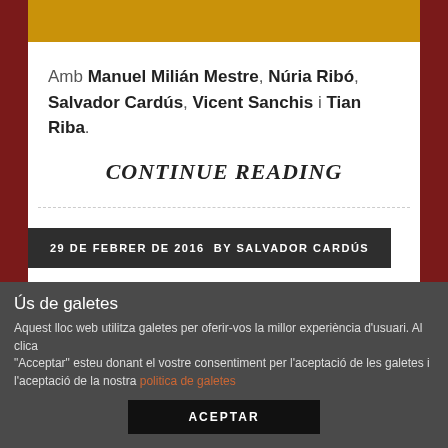Amb Manuel Milián Mestre, Núria Ribó, Salvador Cardús, Vicent Sanchis i Tian Riba.
CONTINUE READING
29 DE FEBRER DE 2016  BY SALVADOR CARDÚS
Ús de galetes
Aquest lloc web utilitza galetes per oferir-vos la millor experiència d'usuari. Al clica "Acceptar" esteu donant el vostre consentiment per l'aceptació de les galetes i l'aceptació de la nostra politica de galetes
ACEPTAR